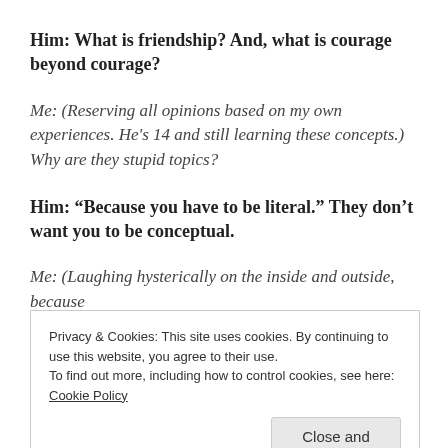Him: What is friendship? And, what is courage beyond courage?
Me: (Reserving all opinions based on my own experiences. He's 14 and still learning these concepts.) Why are they stupid topics?
Him: “Because you have to be literal.” They don’t want you to be conceptual.
Me: (Laughing hysterically on the inside and outside, because
Privacy & Cookies: This site uses cookies. By continuing to use this website, you agree to their use.
To find out more, including how to control cookies, see here: Cookie Policy
Close and accept
last year and we’re still friends. I play Xbox at your